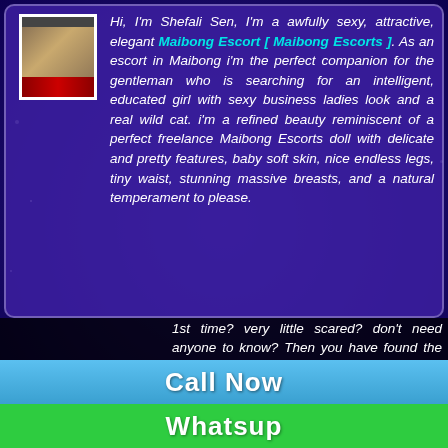[Figure (photo): Thumbnail image in top card showing a decorative item with a red ornamental bar at bottom]
Hi, I'm Shefali Sen, I'm a awfully sexy, attractive, elegant Maibong Escort [ Maibong Escorts ]. As an escort in Maibong i'm the perfect companion for the gentleman who is searching for an intelligent, educated girl with sexy business ladies look and a real wild cat. i'm a refined beauty reminiscent of a perfect freelance Maibong Escorts doll with delicate and pretty features, baby soft skin, nice endless legs, tiny waist, stunning massive breasts, and a natural temperament to please. 1st time? very little scared? don't need anyone to know? Then you have found the proper woman.
[Figure (photo): Thumbnail image in bottom card showing a woman playing a stringed instrument with a red ornamental bar at bottom]
Maibong Busty Escort Girl
Call Me
Whatsapp Me
Call Now
Whatsup